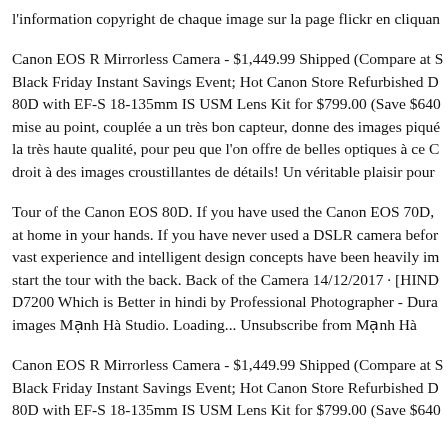l'information copyright de chaque image sur la page flickr en cliquan
Canon EOS R Mirrorless Camera - $1,449.99 Shipped (Compare at S Black Friday Instant Savings Event; Hot Canon Store Refurbished D 80D with EF-S 18-135mm IS USM Lens Kit for $799.00 (Save $640 mise au point, couplée a un très bon capteur, donne des images piqué la très haute qualité, pour peu que l'on offre de belles optiques à ce C droit à des images croustillantes de détails! Un véritable plaisir pour
Tour of the Canon EOS 80D. If you have used the Canon EOS 70D, at home in your hands. If you have never used a DSLR camera befor vast experience and intelligent design concepts have been heavily im start the tour with the back. Back of the Camera 14/12/2017 · [HIND D7200 Which is Better in hindi by Professional Photographer - Dura images Mạnh Hà Studio. Loading... Unsubscribe from Mạnh Hà
Canon EOS R Mirrorless Camera - $1,449.99 Shipped (Compare at S Black Friday Instant Savings Event; Hot Canon Store Refurbished D 80D with EF-S 18-135mm IS USM Lens Kit for $799.00 (Save $640